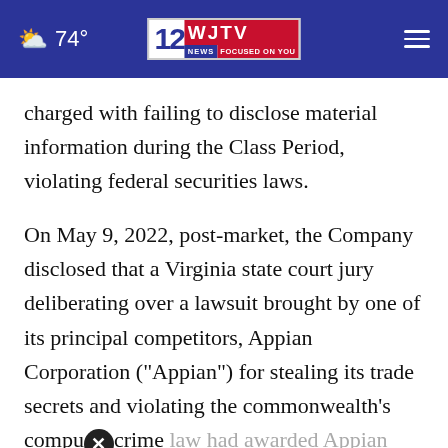74° | WJTV News Focused on You
charged with failing to disclose material information during the Class Period, violating federal securities laws.
On May 9, 2022, post-market, the Company disclosed that a Virginia state court jury deliberating over a lawsuit brought by one of its principal competitors, Appian Corporation ("Appian") for stealing its trade secrets and violating the commonwealth's computer crime law had awarded Appian more than $2 billion for the Company's "willful and malicious" trade